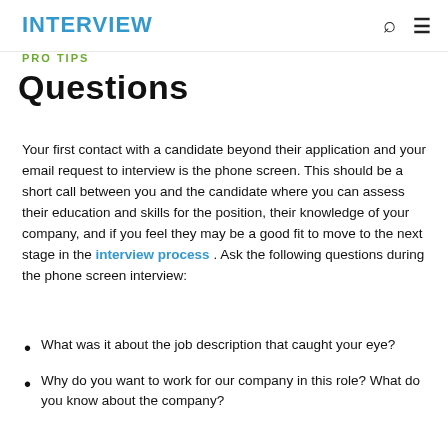INTERVIEW
PRO TIPS
Questions
Your first contact with a candidate beyond their application and your email request to interview is the phone screen. This should be a short call between you and the candidate where you can assess their education and skills for the position, their knowledge of your company, and if you feel they may be a good fit to move to the next stage in the interview process . Ask the following questions during the phone screen interview:
What was it about the job description that caught your eye?
Why do you want to work for our company in this role? What do you know about the company?